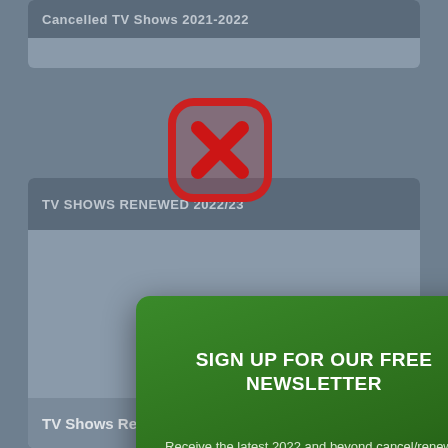Cancelled TV Shows 2021-2022
TV SHOWS RENEWED 2022/23
[Figure (screenshot): A newsletter signup modal popup with green gradient background. Shows 'SIGN UP FOR OUR FREE NEWSLETTER' headline, subtitle 'Receive the latest 2022 and beyond cancel/renewal', an email input field with arrow button, a close X button in top right, and a large red-outlined X close button at the top center of the modal.]
SIGN UP FOR OUR FREE NEWSLETTER
Receive the latest 2022 and beyond cancel/renewal
Enter Your Email Address
TV Shows Renewed 2022-2023 Season